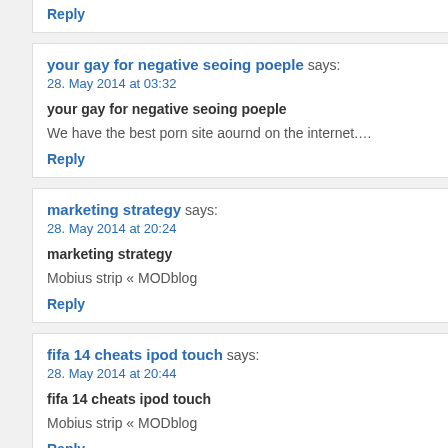Reply
your gay for negative seoing poeple says:
28. May 2014 at 03:32
your gay for negative seoing poeple
We have the best porn site aournd on the internet.…
Reply
marketing strategy says:
28. May 2014 at 20:24
marketing strategy
Mobius strip « MODblog
Reply
fifa 14 cheats ipod touch says:
28. May 2014 at 20:44
fifa 14 cheats ipod touch
Mobius strip « MODblog
Reply
fifa 14 coins and points generator says: